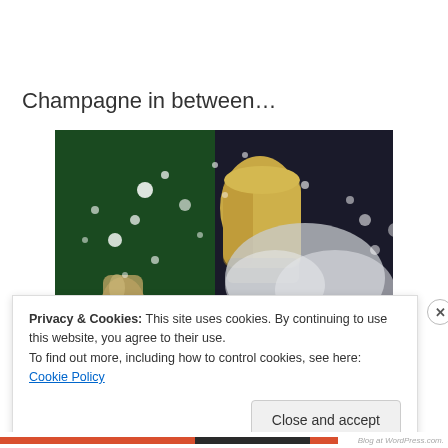Champagne in between…
[Figure (photo): Close-up photo of a champagne cork flying out of a bottle with champagne spray and bubbles against a dark green background. Photobucket watermark visible.]
Privacy & Cookies: This site uses cookies. By continuing to use this website, you agree to their use.
To find out more, including how to control cookies, see here: Cookie Policy
Close and accept